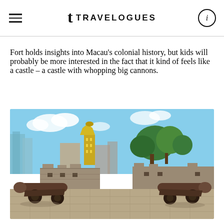TRAVELOGUES
Fort holds insights into Macau’s colonial history, but kids will probably be more interested in the fact that it kind of feels like a castle – a castle with whopping big cannons.
[Figure (photo): Photograph of Macau fort with two large historic cannons in the foreground, stone battlements in the middle ground, and the Grand Lisboa casino tower and city skyline with trees visible in the background under a partly cloudy sky.]